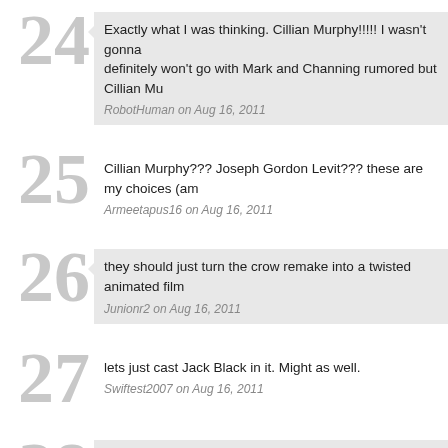24 — Exactly what I was thinking. Cillian Murphy!!!!! I wasn't gonna definitely won't go with Mark and Channing rumored but Cillian Mu — RobotHuman on Aug 16, 2011
25 — Cillian Murphy??? Joseph Gordon Levit??? these are my choices (am — Armeetapus16 on Aug 16, 2011
26 — they should just turn the crow remake into a twisted animated film — Junionr2 on Aug 16, 2011
27 — lets just cast Jack Black in it. Might as well. — Swiftest2007 on Aug 16, 2011
28 — im surprised Anderton didnt mention Tom Hardy.. or even Anne H there are other awesome actors out there who havnt been in a Chris he was playing Bane instead. that wouldve really rocked this site's be — Sorah P... on Aug 16, 2011